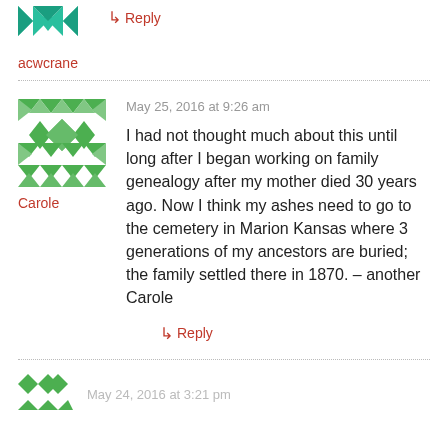[Figure (illustration): Green geometric avatar icon (partial, top cropped) for user acwcrane]
acwcrane
↳ Reply
May 25, 2016 at 9:26 am
[Figure (illustration): Green geometric mosaic avatar icon for user Carole]
Carole
I had not thought much about this until long after I began working on family genealogy after my mother died 30 years ago. Now I think my ashes need to go to the cemetery in Marion Kansas where 3 generations of my ancestors are buried; the family settled there in 1870. – another Carole
↳ Reply
May 24, 2016 at 3:21 pm
[Figure (illustration): Green geometric avatar icon (partial, bottom cropped) for another user]